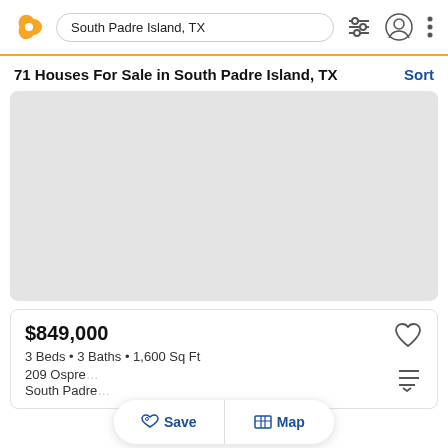South Padre Island, TX
71 Houses For Sale in South Padre Island, TX
[Figure (map): Gray placeholder map area showing property locations in South Padre Island, TX]
$849,000
3 Beds • 3 Baths • 1,600 Sq Ft
209 Ospre...
South Padre...